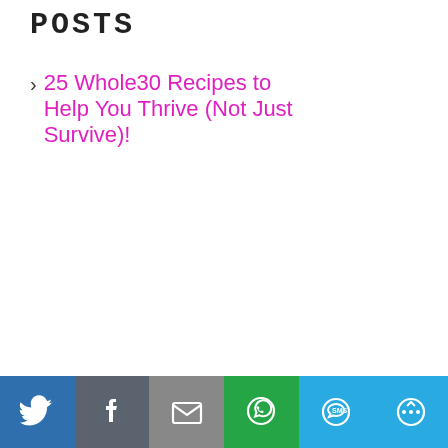POSTS
25 Whole30 Recipes to Help You Thrive (Not Just Survive)!
Easy Orange & Ginger Beer Cranberry Sauce
Grain-